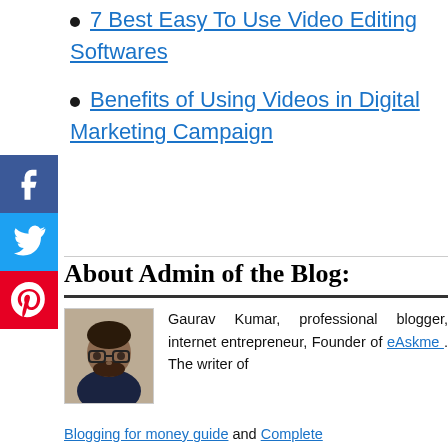7 Best Easy To Use Video Editing Softwares
Benefits of Using Videos in Digital Marketing Campaign
[Figure (illustration): Social media sharing icons: Facebook (blue), Twitter (light blue), Pinterest (red)]
About Admin of the Blog:
[Figure (photo): Portrait photo of Gaurav Kumar, a man with glasses and a beard wearing a dark jacket]
Gaurav Kumar, professional blogger, internet entrepreneur, Founder of eAskme. The writer of Blogging for money guide and Complete